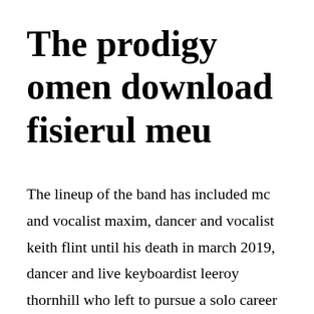The prodigy omen download fisierul meu
The lineup of the band has included mc and vocalist maxim, dancer and vocalist keith flint until his death in march 2019, dancer and live keyboardist leeroy thornhill who left to pursue a solo career in 1999, and dancer and vocalist sharky 19901991. Release dates 1 also known as aka 0 release dates uk 19 january 2009.